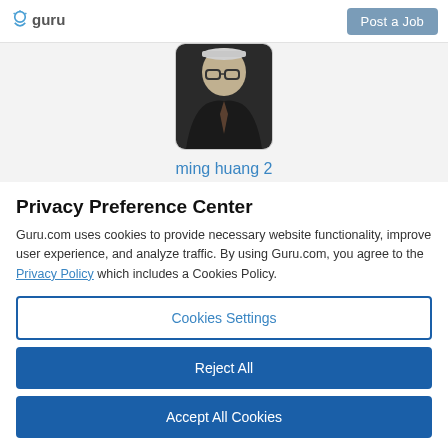guru | Post a Job
[Figure (photo): Profile photo of ming huang 2, a person wearing glasses and a dark jacket]
ming huang 2
Privacy Preference Center
Guru.com uses cookies to provide necessary website functionality, improve user experience, and analyze traffic. By using Guru.com, you agree to the Privacy Policy which includes a Cookies Policy.
Cookies Settings
Reject All
Accept All Cookies